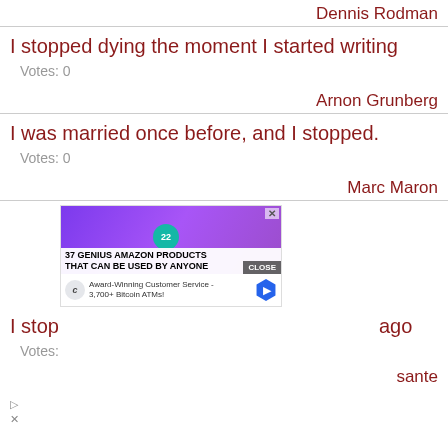Dennis Rodman
I stopped dying the moment I started writing
Votes: 0
Arnon Grunberg
I was married once before, and I stopped.
Votes: 0
Marc Maron
[Figure (other): Advertisement banner showing purple headphones on a wooden surface with text '37 GENIUS AMAZON PRODUCTS THAT CAN BE USED BY ANYONE' and a close button. Below shows 'Award-Winning Customer Service - 3,700+ Bitcoin ATMs!' with a blue hexagon arrow icon.]
I stop                                          ago
Votes:
sante